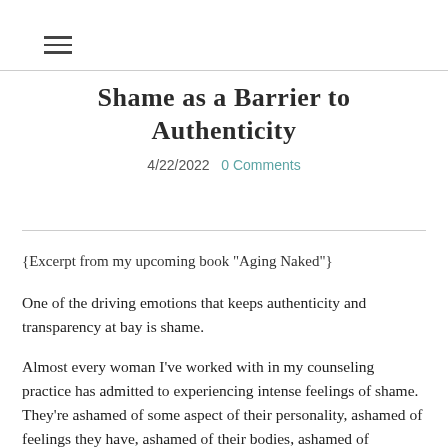≡
Shame as a Barrier to Authenticity
4/22/2022  0 Comments
{Excerpt from my upcoming book "Aging Naked"}
One of the driving emotions that keeps authenticity and transparency at bay is shame.
Almost every woman I've worked with in my counseling practice has admitted to experiencing intense feelings of shame. They're ashamed of some aspect of their personality, ashamed of feelings they have, ashamed of their bodies, ashamed of something that has happened to them, or something they did to someone else.